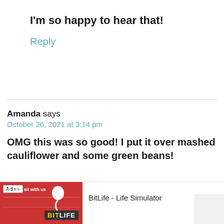I'm so happy to hear that!
Reply
Amanda says
October 26, 2021 at 3:14 pm
OMG this was so good! I put it over mashed cauliflower and some green beans!
[Figure (screenshot): Mobile ad banner for BitLife - Life Simulator app with Install button]